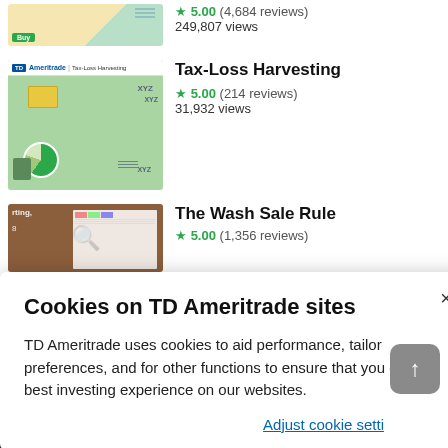[Figure (screenshot): Top partial course thumbnail showing yellow and green illustration with a Buy button]
★ 5.00 (4,684 reviews)
249,807 views
[Figure (screenshot): TD Ameritrade Tax-Loss Harvesting course thumbnail with financial graphics on green background]
Tax-Loss Harvesting
★ 5.00 (214 reviews)
31,932 views
[Figure (screenshot): Partial course thumbnail showing spreadsheet on brown/orange background with text 'rting.' and '8']
The Wash Sale Rule
★ 5.00 (1,356 reviews)
Cookies on TD Ameritrade sites
TD Ameritrade uses cookies to aid performance, tailor preferences, and for other functions to ensure that you get the best investing experience on our websites.
Adjust cookie settings
10%   12%   22%
124,555 views